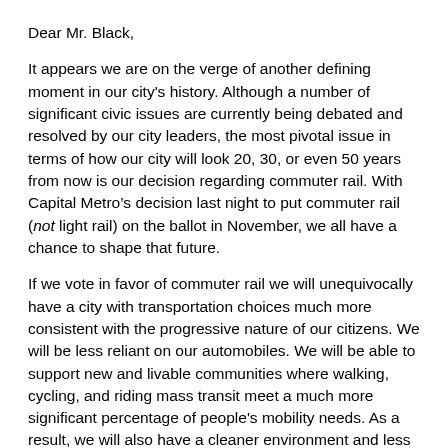Dear Mr. Black,
It appears we are on the verge of another defining moment in our city's history. Although a number of significant civic issues are currently being debated and resolved by our city leaders, the most pivotal issue in terms of how our city will look 20, 30, or even 50 years from now is our decision regarding commuter rail. With Capital Metro’s decision last night to put commuter rail (not light rail) on the ballot in November, we all have a chance to shape that future.
If we vote in favor of commuter rail we will unequivocally have a city with transportation choices much more consistent with the progressive nature of our citizens. We will be less reliant on our automobiles. We will be able to support new and livable communities where walking, cycling, and riding mass transit meet a much more significant percentage of people's mobility needs. As a result, we will also have a cleaner environment and less pressure for development over the aquifer.
Not only does the All Systems Go initiative deserve our support, but so do the elected officials that support it. Defining moments don’t come around often, but we are approaching one for Austin this November. I hope commuter rail is a part of that future.